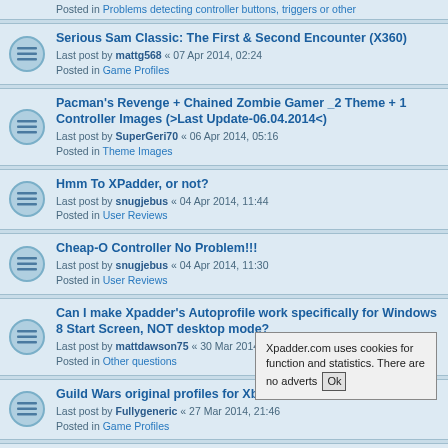Posted in Problems detecting controller buttons, triggers or other
Serious Sam Classic: The First & Second Encounter (X360)
Last post by mattg568 « 07 Apr 2014, 02:24
Posted in Game Profiles
Pacman's Revenge + Chained Zombie Gamer _2 Theme + 1 Controller Images (>Last Update-06.04.2014<)
Last post by SuperGeri70 « 06 Apr 2014, 05:16
Posted in Theme Images
Hmm To XPadder, or not?
Last post by snugjebus « 04 Apr 2014, 11:44
Posted in User Reviews
Cheap-O Controller No Problem!!!
Last post by snugjebus « 04 Apr 2014, 11:30
Posted in User Reviews
Can I make Xpadder's Autoprofile work specifically for Windows 8 Start Screen, NOT desktop mode?
Last post by mattdawson75 « 30 Mar 2014, 22:02
Posted in Other questions
Guild Wars original profiles for Xbox 360 and PS3
Last post by Fullygeneric « 27 Mar 2014, 21:46
Posted in Game Profiles
Betop BTP-C033
Last post by webster0105 « 17 Mar 2014, 15:10
Posted in Problems detecting controller buttons...
War Thunder (X360)
Last post by metalfrogg1980 « 17 Mar 2014, 05:06
Xpadder.com uses cookies for function and statistics. There are no adverts Ok